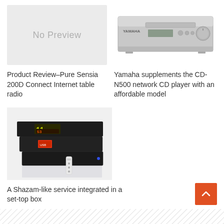[Figure (other): No Preview placeholder box with grey background]
Product Review–Pure Sensia 200D Connect Internet table radio
[Figure (photo): Yamaha CD-N500 network CD player silver unit photo]
Yamaha supplements the CD-N500 network CD player with an affordable model
[Figure (photo): Set-top box stack with time display 11:53 and remote control]
A Shazam-like service integrated in a set-top box